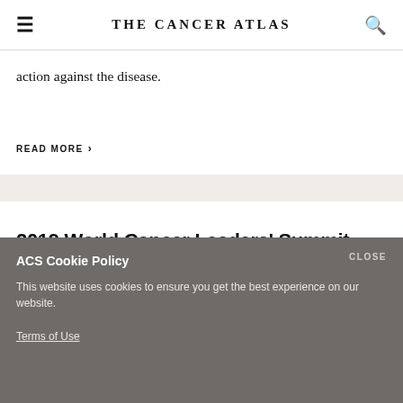THE CANCER ATLAS
action against the disease.
READ MORE >
2019 World Cancer Leaders' Summit – leaving no one behind
ACS Cookie Policy
CLOSE
This website uses cookies to ensure you get the best experience on our website.
Terms of Use